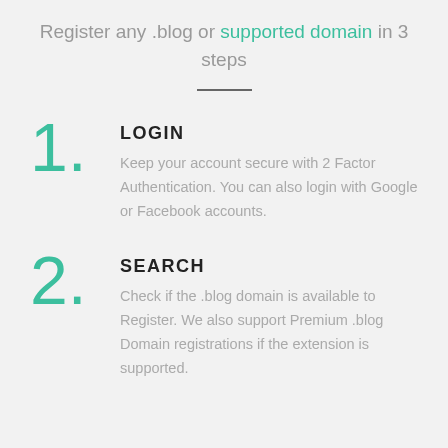Register any .blog or supported domain in 3 steps
1. LOGIN
Keep your account secure with 2 Factor Authentication. You can also login with Google or Facebook accounts.
2. SEARCH
Check if the .blog domain is available to Register. We also support Premium .blog Domain registrations if the extension is supported.